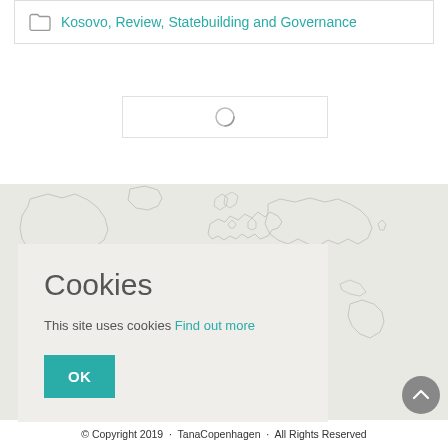Kosovo, Review, Statebuilding and Governance
[Figure (screenshot): Loading spinner / search input box with a circular loading indicator in the center]
[Figure (map): World map outline illustration used as website footer background, rendered in light gray lines on a beige/gray background]
Cookies
This site uses cookies Find out more
OK
© Copyright 2019  ·  TanaCopenhagen  ·  All Rights Reserved